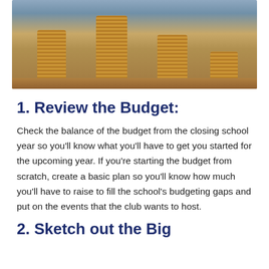[Figure (photo): Stacks of coins arranged in descending height order on a wooden surface, with blurred background of people]
1. Review the Budget:
Check the balance of the budget from the closing school year so you’ll know what you’ll have to get you started for the upcoming year. If you’re starting the budget from scratch, create a basic plan so you’ll know how much you’ll have to raise to fill the school’s budgeting gaps and put on the events that the club wants to host.
2. Sketch out the Big